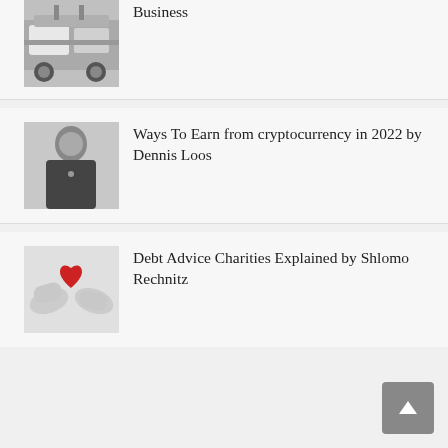[Figure (photo): Partial view of a white Mercedes-Benz car grille — Business article thumbnail]
Business
[Figure (photo): Man in black turtleneck standing in a neutral background — cryptocurrency article thumbnail]
Ways To Earn from cryptocurrency in 2022 by Dennis Loos
[Figure (photo): Two hands exchanging a red heart — Debt Advice Charities article thumbnail]
Debt Advice Charities Explained by Shlomo Rechnitz